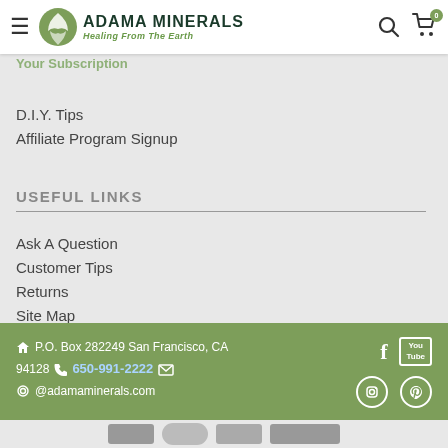Adama Minerals — Healing From The Earth
D.I.Y. Tips
Affiliate Program Signup
USEFUL LINKS
Ask A Question
Customer Tips
Returns
Site Map
GPDR Tools
P.O. Box 282249 San Francisco, CA 94128  650-991-2222  @adamaminerals.com